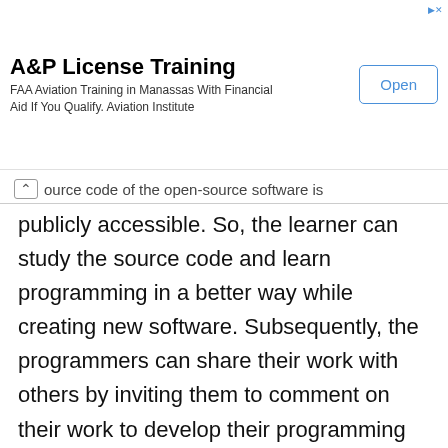[Figure (other): Advertisement banner: A&P License Training. FAA Aviation Training in Manassas With Financial Aid If You Qualify. Aviation Institute. Open button.]
ource code of the open-source software is publicly accessible. So, the learner can study the source code and learn programming in a better way while creating new software. Subsequently, the programmers can share their work with others by inviting them to comment on their work to develop their programming skills.
Even if people identify some mistakes in the source code of the open-source software, they can notify them by sharing them with others to avoid making the same mistake.